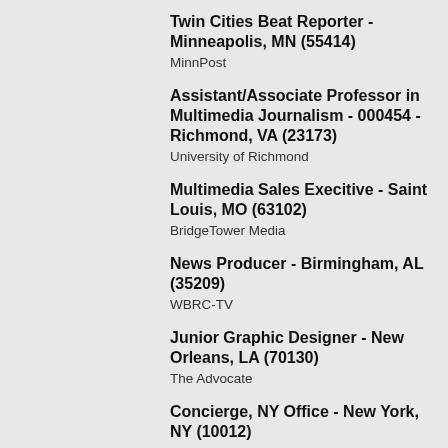Twin Cities Beat Reporter - Minneapolis, MN (55414)
MinnPost
Assistant/Associate Professor in Multimedia Journalism - 000454 - Richmond, VA (23173)
University of Richmond
Multimedia Sales Execitive - Saint Louis, MO (63102)
BridgeTower Media
News Producer - Birmingham, AL (35209)
WBRC-TV
Junior Graphic Designer - New Orleans, LA (70130)
The Advocate
Concierge, NY Office - New York, NY (10012)
The Atlantic
State government/politics reporter - Montgomery, AL (36106)